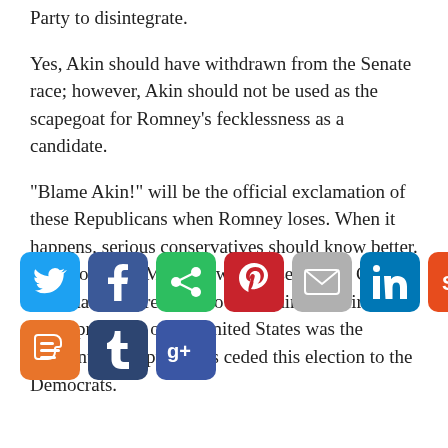Party to disintegrate.
Yes, Akin should have withdrawn from the Senate race; however, Akin should not be used as the scapegoat for Romney’s fecklessness as a candidate.
“Blame Akin!” will be the official exclamation of these Republicans when Romney loses. When it happens, serious conservatives should know better. The moment a Mormon was chosen as the GOP candidate for president to run against the first black president of the United States was the moment the Republicans ceded this election to the Democrats.
[Figure (infographic): Row of social media sharing buttons: Twitter (blue bird), Facebook (blue f), Share (green arrow), Pinterest (red P), Email (grey envelope), LinkedIn (blue in), StumbleUpon (orange SU), Reddit (light blue alien), Digg (dark blue digg). Second row: Blogger (orange B), Tumblr (dark blue t), Google+ (blue g+).]